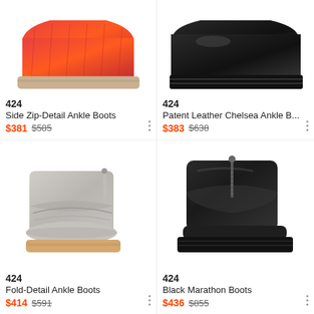[Figure (photo): Top portion of red/orange textured ankle boot with beige lug sole — image cropped at top]
424
Side Zip-Detail Ankle Boots
$381  $585
[Figure (photo): Top portion of black patent leather Chelsea ankle boot — image cropped at top]
424
Patent Leather Chelsea Ankle B...
$383  $638
[Figure (photo): Grey leather fold-detail ankle boot with tan lug sole, zipper at back]
424
Fold-Detail Ankle Boots
$414  $591
[Figure (photo): Black leather marathon boot with zipper at front, chunky black sole]
424
Black Marathon Boots
$436  $855